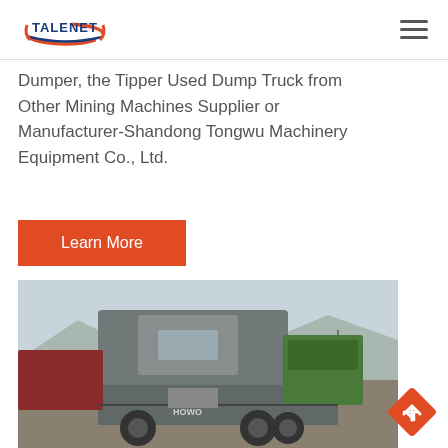TALENET [logo]
Dumper, the Tipper Used Dump Truck from Other Mining Machines Supplier or Manufacturer-Shandong Tongwu Machinery Equipment Co., Ltd.
Learn More
[Figure (photo): Rear view of a HOWO heavy truck tractor unit parked in a yard with other vehicles and mountains in the background]